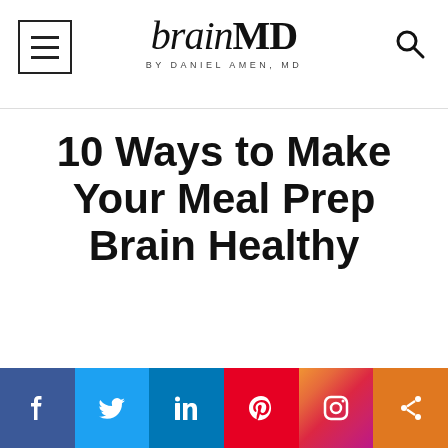brainMD BY DANIEL AMEN, MD
10 Ways to Make Your Meal Prep Brain Healthy